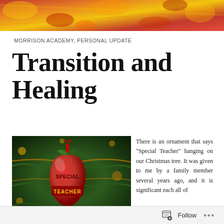[Figure (photo): Christmas tree with red and gold tinsel, decorative ornaments, festive bokeh lights]
MORRISON ACADEMY, PERSONAL UPDATE
Transition and Healing
[Figure (photo): Red apple-shaped ornament reading 'Special Teacher' hanging on a Christmas tree with green foliage and gold tinsel]
There is an ornament that says “Special Teacher” hanging on our Christmas tree. It was given to me by a family member several years ago, and it is significant each all of
Follow …